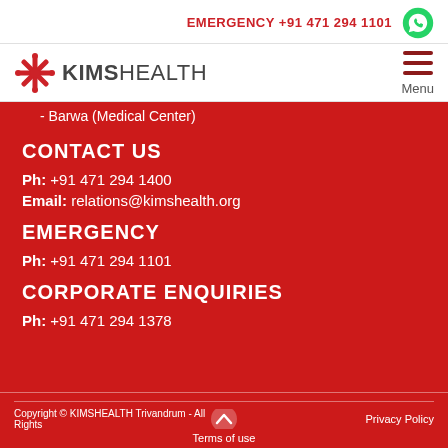EMERGENCY +91 471 294 1101
[Figure (logo): KIMSHEALTH logo with red snowflake icon and text]
- Barwa (Medical Center)
CONTACT US
Ph: +91 471 294 1400
Email: relations@kimshealth.org
EMERGENCY
Ph: +91 471 294 1101
CORPORATE ENQUIRIES
Ph: +91 471 294 1378
Copyright © KIMSHEALTH Trivandrum - All Rights | Privacy Policy | Terms of use